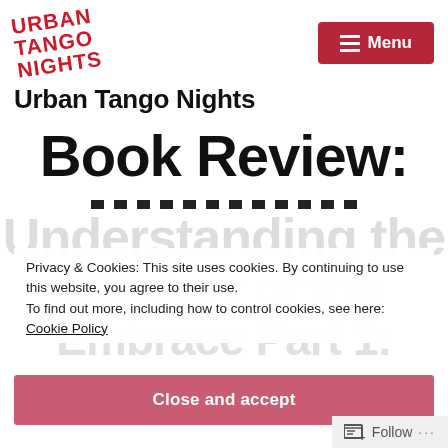[Figure (logo): Urban Tango Nights logo in red italic stacked text, rotated slightly]
Menu
Urban Tango Nights
Book Review: Understanding the Mystery of the Embrace Part 1:
Privacy & Cookies: This site uses cookies. By continuing to use this website, you agree to their use.
To find out more, including how to control cookies, see here: Cookie Policy
Close and accept
Follow